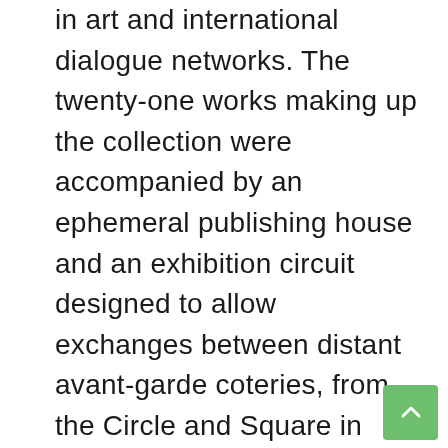in art and international dialogue networks. The twenty-one works making up the collection were accompanied by an ephemeral publishing house and an exhibition circuit designed to allow exchanges between distant avant-garde coteries, from the Circle and Square in Paris to UNOVIS in Vitebsk . That these artists managed to do so much while creating their own work, teaching, writing and unionizing – a multi-pronged set of activities familiar to any member of the engaged classes of contemporary Poland, where taking to the streets in protest against the Law and Justice Party's relentless assault on democracy can consume as much or more of their time, energy and dedication than their daily work – is a remarkable aspect of the history of the Muzeum